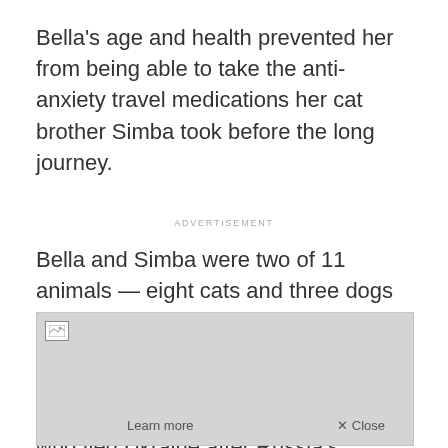Bella's age and health prevented her from being able to take the anti-anxiety travel medications her cat brother Simba took before the long journey.
ADVERTISEMENT
Bella and Simba were two of 11 animals — eight cats and three dogs — aboard a flight from Poland to St. John's last week, a charter that the Newfoundland and Labrador government arranged for 166 people who fled Ukraine after Russia's invasion in February.
[Figure (screenshot): Advertisement placeholder with image icon, Learn more button, and Close button on grey background]